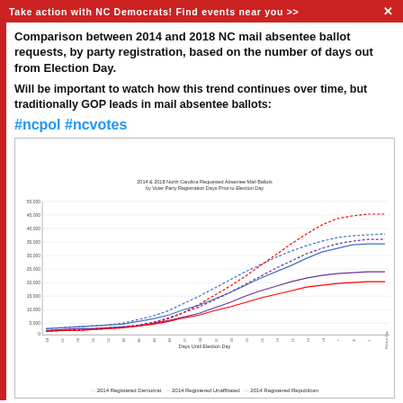Take action with NC Democrats! Find events near you >>
Comparison between 2014 and 2018 NC mail absentee ballot requests, by party registration, based on the number of days out from Election Day.
Will be important to watch how this trend continues over time, but traditionally GOP leads in mail absentee ballots:
#ncpol #ncvotes
[Figure (line-chart): Multi-line chart showing 2014 and 2018 NC requested absentee mail ballots by voter party registration, with days prior to Election Day on x-axis and ballot counts (0-50,000) on y-axis. Lines for 2014 Registered Democrat (blue solid), 2014 Registered Unaffiliated (purple solid), 2014 Registered Republican (red solid), and dotted versions for 2018 counterparts.]
2014 Registered Democrat  2014 Registered Unaffiliated  2014 Registered Republican